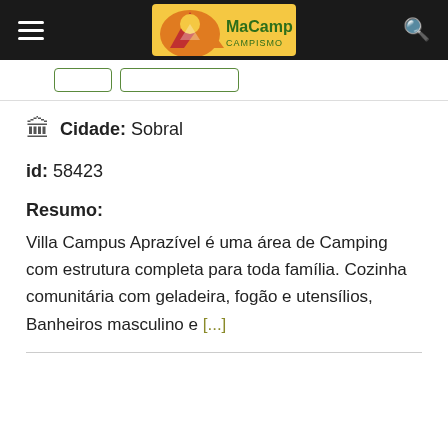MaCamp CAMPISMO
Cidade: Sobral
id: 58423
Resumo:
Villa Campus Aprazível é uma área de Camping com estrutura completa para toda família. Cozinha comunitária com geladeira, fogão e utensílios, Banheiros masculino e [...]